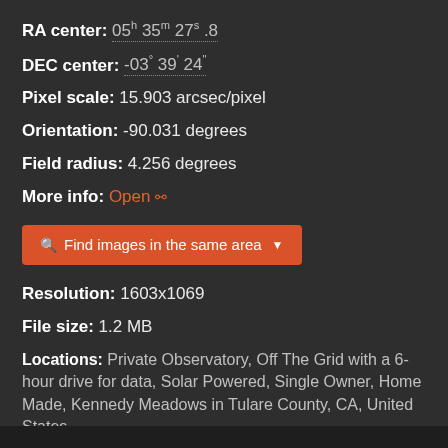RA center: 05h 35m 27s .8
DEC center: -03° 39' 24"
Pixel scale: 15.903 arcsec/pixel
Orientation: -90.031 degrees
Field radius: 4.256 degrees
More info: Open
[Figure (other): Button: Find images in the same area]
Resolution: 1603x1069
File size: 1.2 MB
Locations: Private Observatory, Off The Grid with a 6-hour drive for data, Solar Powered, Single Owner, Home Made, Kennedy Meadows in Tulare County, CA, United States